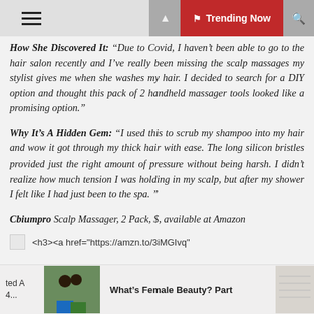Trending Now
How She Discovered It: "Due to Covid, I haven't been able to go to the hair salon recently and I've really been missing the scalp massages my stylist gives me when she washes my hair. I decided to search for a DIY option and thought this pack of 2 handheld massager tools looked like a promising option."
Why It's A Hidden Gem: "I used this to scrub my shampoo into my hair and wow it got through my thick hair with ease. The long silicon bristles provided just the right amount of pressure without being harsh. I didn't realize how much tension I was holding in my scalp, but after my shower I felt like I had just been to the spa. "
Cbiumpro Scalp Massager, 2 Pack, $, available at Amazon
<h3><a href="https://amzn.to/3iMGIvq"
What's Female Beauty? Part